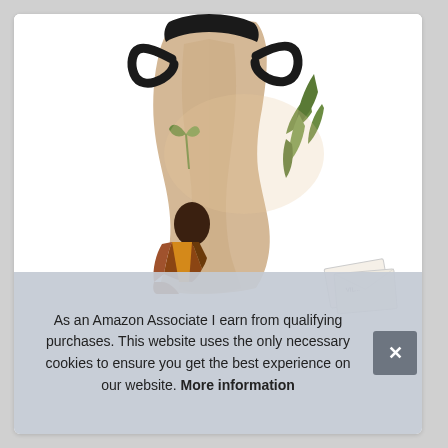[Figure (photo): Product photo of a fabric face mask/neck gaiter displayed on a mannequin neck. The mask has black elastic ear loops and features a printed design with a warm beige/tan background showing a woman with dark hair wearing a striped blanket or shawl, with tropical palm leaves. There are also some white envelope-like items visible in the bottom right corner.]
As an Amazon Associate I earn from qualifying purchases. This website uses the only necessary cookies to ensure you get the best experience on our website. More information